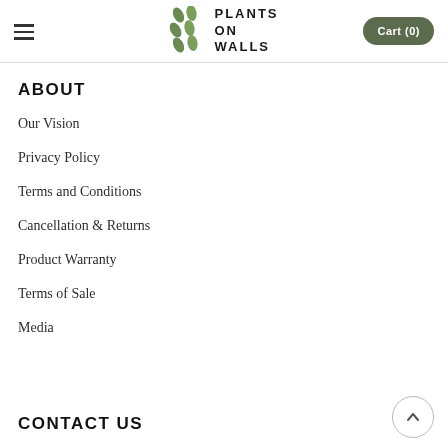Plants on Walls — Cart (0)
ABOUT
Our Vision
Privacy Policy
Terms and Conditions
Cancellation & Returns
Product Warranty
Terms of Sale
Media
CONTACT US